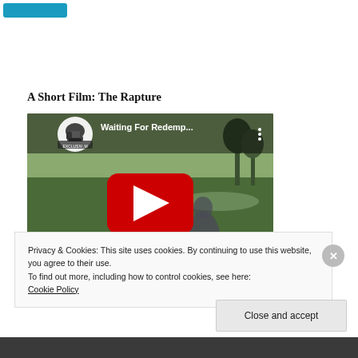[Figure (other): Blue button/link at top left]
A Short Film: The Rapture
[Figure (screenshot): YouTube video embed thumbnail showing 'Waiting For Redemp...' with a red play button and a person in a park setting. Channel logo visible top left.]
Privacy & Cookies: This site uses cookies. By continuing to use this website, you agree to their use.
To find out more, including how to control cookies, see here:
Cookie Policy
Close and accept